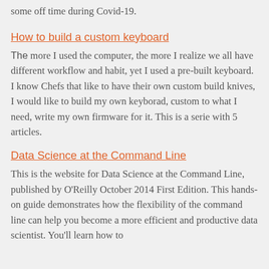some off time during Covid-19.
How to build a custom keyboard
The more I used the computer, the more I realize we all have different workflow and habit, yet I used a pre-built keyboard. I know Chefs that like to have their own custom build knives, I would like to build my own keyborad, custom to what I need, write my own firmware for it. This is a serie with 5 articles.
Data Science at the Command Line
This is the website for Data Science at the Command Line, published by O'Reilly October 2014 First Edition. This hands-on guide demonstrates how the flexibility of the command line can help you become a more efficient and productive data scientist. You'll learn how to